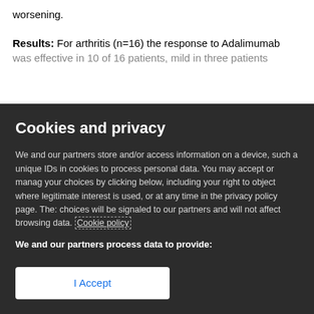worsening.
Results: For arthritis (n=16) the response to Adalimumab was effective in 10 of 16 patients, mild in three patients
Cookies and privacy
We and our partners store and/or access information on a device, such a unique IDs in cookies to process personal data. You may accept or manage your choices by clicking below, including your right to object where legitimate interest is used, or at any time in the privacy policy page. These choices will be signaled to our partners and will not affect browsing data. Cookie policy
We and our partners process data to provide:
Store and/or access information on a device, Personalised ads and content, ad and content measurement, audience insights and product development, Use precise geolocation data, Actively scan device characteristics for identification
List of Partners (vendors)
I Accept